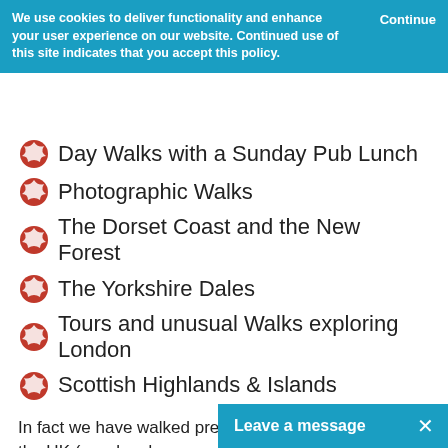We use cookies to deliver functionality and enhance your user experience on our website. Continued use of this site indicates that you accept this policy. Continue
Day Walks with a Sunday Pub Lunch
Photographic Walks
The Dorset Coast and the New Forest
The Yorkshire Dales
Tours and unusual Walks exploring London
Scottish Highlands & Islands
In fact we have walked pretty much everywhere in the UK (we also do some overseas trips).  Our walks are suitable for anyone with a reasonable level of fitness (but do check first) and we often provide a choice of an easier and a harder walk on our weekend events, we can also tailor it to the preference of the group.
So if you like a gentle n…